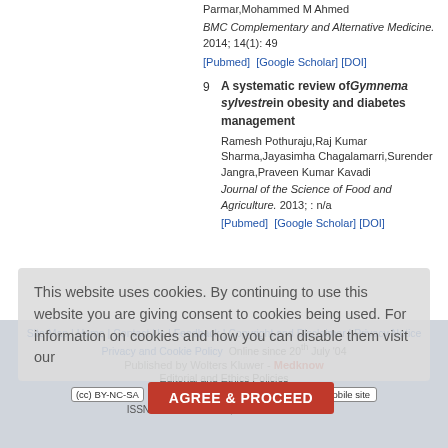Parmar,Mohammed M Ahmed
BMC Complementary and Alternative Medicine. 2014; 14(1): 49
[Pubmed]  [Google Scholar] [DOI]
A systematic review ofGymnema sylvestrein obesity and diabetes management
Ramesh Pothuraju,Raj Kumar Sharma,Jayasimha Chagalamarri,Surender Jangra,Praveen Kumar Kavadi
Journal of the Science of Food and Agriculture. 2013; : n/a
[Pubmed]  [Google Scholar] [DOI]
This website uses cookies. By continuing to use this website you are giving consent to cookies being used. For information on cookies and how you can disable them visit our
Site Map | Home | Contact Us | Feedback | Copyright and Disclaimer | Privacy Notice
Privacy and Cookie Policy
Online since 20th July '04
Published by Wolters Kluwer - Medknow
Editorial and Ethics Policies
(cc) BY-NC-SA  Open Access  $ No Fee  View mobile site
ISSN: Print -0253-7613, Online - 1998-3751